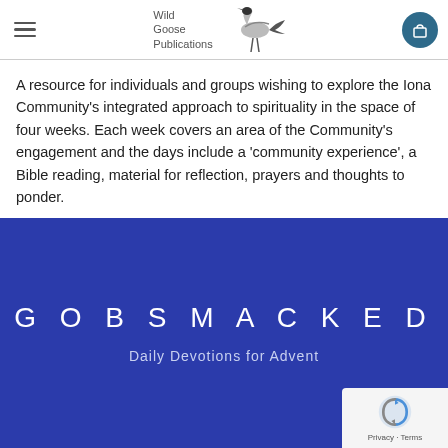Wild Goose Publications
A resource for individuals and groups wishing to explore the Iona Community's integrated approach to spirituality in the space of four weeks. Each week covers an area of the Community's engagement and the days include a 'community experience', a Bible reading, material for reflection, prayers and thoughts to ponder.
[Figure (photo): Book cover for 'GOBSMACKED – Daily Devotions for Advent' with white text on a dark blue/purple background]